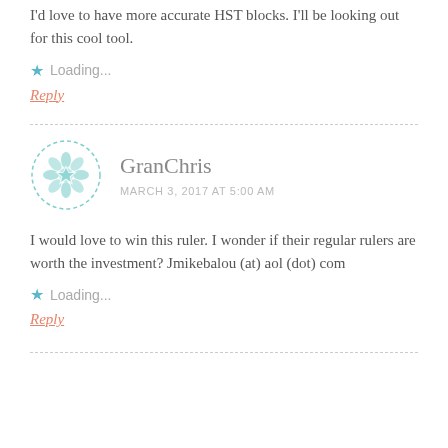I'd love to have more accurate HST blocks. I'll be looking out for this cool tool.
Loading...
Reply
[Figure (illustration): Round avatar with teal geometric floral pattern inside a dashed circle border]
GranChris
MARCH 3, 2017 AT 5:00 AM
I would love to win this ruler. I wonder if their regular rulers are worth the investment? Jmikebalou (at) aol (dot) com
Loading...
Reply